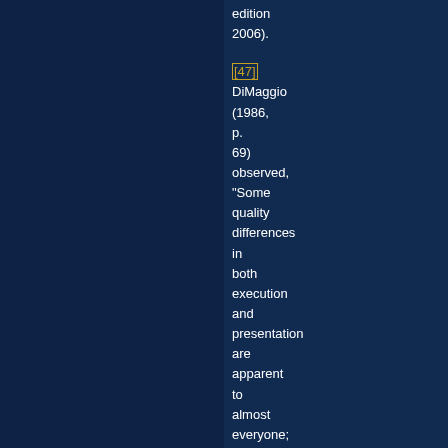edition 2006).
[47] DiMaggio (1986, p. 69) observed, "Some quality differences in both execution and presentation are apparent to almost everyone; discerning